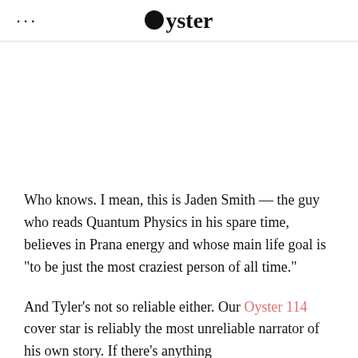... Oyster
Who knows. I mean, this is Jaden Smith — the guy who reads Quantum Physics in his spare time, believes in Prana energy and whose main life goal is “to be just the most craziest person of all time.”
And Tyler’s not so reliable either. Our Oyster 114 cover star is reliably the most unreliable narrator of his own story. If there’s anything